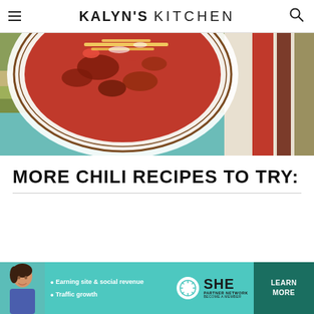KALYN'S KITCHEN
[Figure (photo): Close-up photo of a bowl of chili with toppings (cheese, onions) on a striped cloth napkin]
MORE CHILI RECIPES TO TRY:
[Figure (infographic): SHE Partner Network advertisement banner with a woman, text 'Earning site & social revenue', 'Traffic growth', SHE logo, and LEARN MORE button]